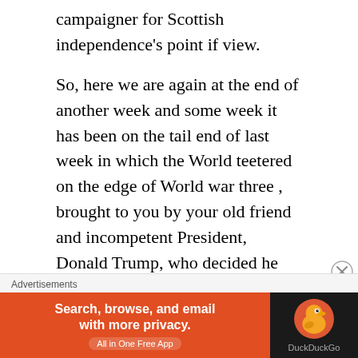campaigner for Scottish independence's point if view.
So, here we are again at the end of another week and some week it has been on the tail end of last week in which the World teetered on the edge of World war three , brought to you by your old friend and incompetent President, Donald Trump, who decided he would murder top Iranian General Quasem Soleimani.
Now make no mistake about it , this was Murder , pure and simple, pre- meditated
[Figure (infographic): DuckDuckGo advertisement banner with orange background on left reading 'Search, browse, and email with more privacy. All in One Free App' and DuckDuckGo duck logo on dark right panel. Labeled 'Advertisements' above.]